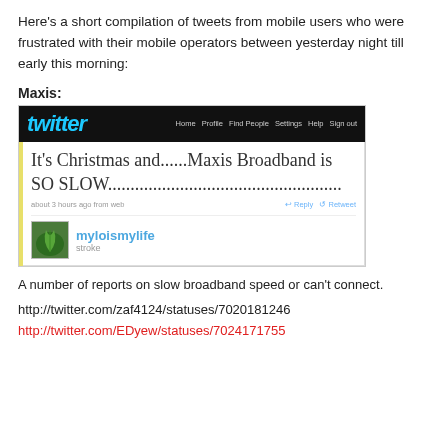Here's a short compilation of tweets from mobile users who were frustrated with their mobile operators between yesterday night till early this morning:
Maxis:
[Figure (screenshot): Screenshot of a Twitter page showing a tweet that reads: 'It's Christmas and......Maxis Broadband is SO SLOW....................................................' posted about 3 hours ago from web, with Reply and Retweet options. Below is the user profile showing username 'myloismylife' and handle 'stroke'.]
A number of reports on slow broadband speed or can't connect.
http://twitter.com/zaf4124/statuses/7020181246
http://twitter.com/EDyew/statuses/7024171755